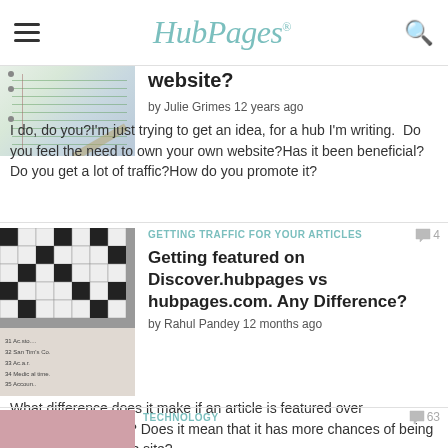HubPages
[Figure (photo): Partial view of a notebook with lined pages and a pencil]
website?
by Julie Grimes 12 years ago
I do, do you?I'm just trying to get an idea, for a hub I'm writing.  Do you feel the need to own your own website?Has it been beneficial? Do you get a lot of traffic?How do you promote it?
GETTING TRAFFIC FOR YOUR ARTICLES
[Figure (photo): Close-up of a crossword puzzle book]
Getting featured on Discover.hubpages vs hubpages.com. Any Difference?
by Rahul Pandey 12 months ago
What difference does it make if an article is featured over Discover.hubpages? Does it mean that it has more chances of being picked up for a niche site?
TECHNOLOGY
[Figure (photo): Partial view of a pink/purple image at bottom]